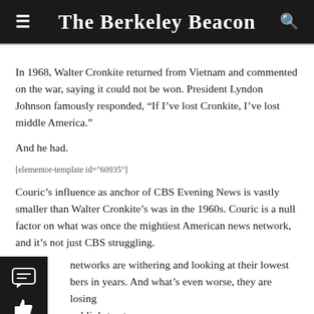The Berkeley Beacon
In 1968, Walter Cronkite returned from Vietnam and commented on the war, saying it could not be won. President Lyndon Johnson famously responded, “If I’ve lost Cronkite, I’ve lost middle America.”
And he had.
[elementor-template id="60935"]
Couric’s influence as anchor of CBS Evening News is vastly smaller than Walter Cronkite’s was in the 1960s. Couric is a null factor on what was once the mightiest American news network, and it’s not just CBS struggling.
networks are withering and looking at their lowest numbers in years. And what’s even worse, they are losing public’s trust.